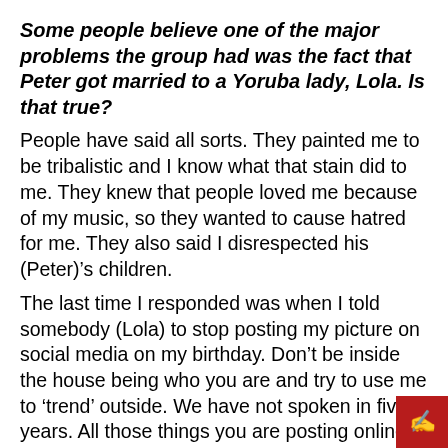Some people believe one of the major problems the group had was the fact that Peter got married to a Yoruba lady, Lola. Is that true?
People have said all sorts. They painted me to be tribalistic and I know what that stain did to me. They knew that people loved me because of my music, so they wanted to cause hatred for me. They also said I disrespected his (Peter)'s children.
The last time I responded was when I told somebody (Lola) to stop posting my picture on social media on my birthday. Don’t be inside the house being who you are and try to use me to ‘trend’ outside. We have not spoken in five years. All those things you are posting online should be said to my face. After all, it’s only a fence that separates us. Don’t be inside wishing me bad, then go on social media to congratulate me on my birthday.